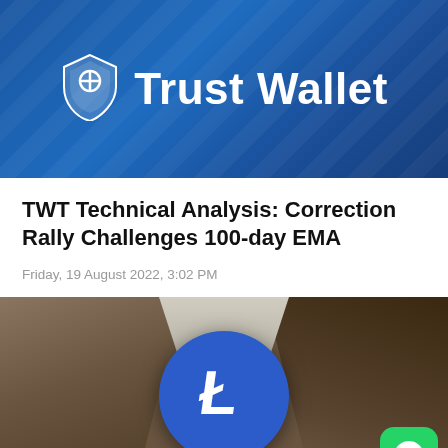[Figure (logo): Trust Wallet banner with shield logo and 'Trust Wallet' text on blue diagonal-striped background]
TWT Technical Analysis: Correction Rally Challenges 100-day EMA
Friday, 19 August 2022, 3:02 PM
[Figure (photo): Litecoin (LTC) logo — blue circle with white stylized L symbol — set between rocky canyon walls with a narrow sky gap above, and a WhatsApp button overlay in bottom-right corner]